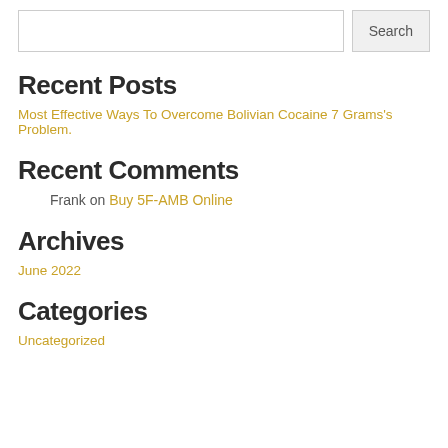Recent Posts
Most Effective Ways To Overcome Bolivian Cocaine 7 Grams's Problem.
Recent Comments
Frank on Buy 5F-AMB Online
Archives
June 2022
Categories
Uncategorized